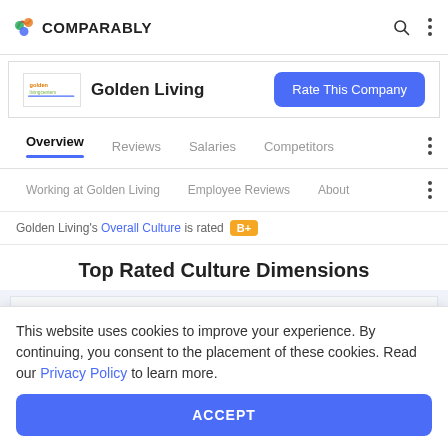COMPARABLY
Golden Living
Rate This Company
Overview  Reviews  Salaries  Competitors
Working at Golden Living  Employee Reviews  About
Golden Living's Overall Culture is rated
Top Rated Culture Dimensions
Diversity  B+
This website uses cookies to improve your experience. By continuing, you consent to the placement of these cookies. Read our Privacy Policy to learn more.
ACCEPT